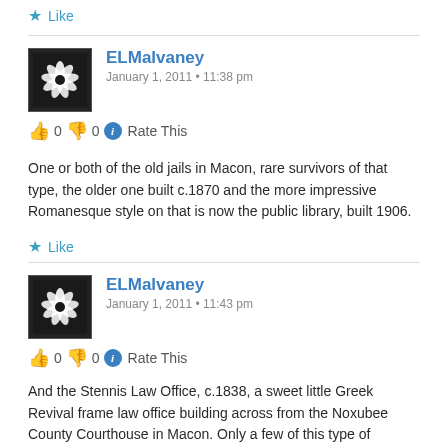★ Like
ELMalvaney
January 1, 2011 • 11:38 pm
👍 0 👎 0 ℹ Rate This
One or both of the old jails in Macon, rare survivors of that type, the older one built c.1870 and the more impressive Romanesque style on that is now the public library, built 1906.
★ Like
ELMalvaney
January 1, 2011 • 11:43 pm
👍 0 👎 0 ℹ Rate This
And the Stennis Law Office, c.1838, a sweet little Greek Revival frame law office building across from the Noxubee County Courthouse in Macon. Only a few of this type of